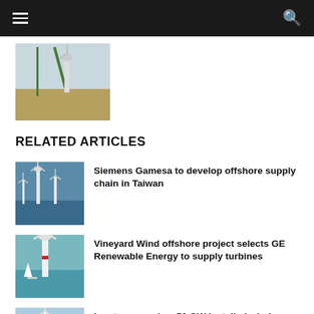[Figure (photo): Partial thumbnail of a wind turbine crane installation scene on a wind farm field.]
RELATED ARTICLES
[Figure (photo): Offshore wind turbines seen from below against a blue sky and sea. Siemens Gamesa article thumbnail.]
Siemens Gamesa to develop offshore supply chain in Taiwan
[Figure (photo): Offshore wind turbine with a small sailboat nearby in open sea. Vineyard Wind article thumbnail.]
Vineyard Wind offshore project selects GE Renewable Energy to supply turbines
[Figure (photo): Wind turbines against a blue cloudy sky. Ingeteam article thumbnail.]
Ingeteam reaches 50 GW installed wind